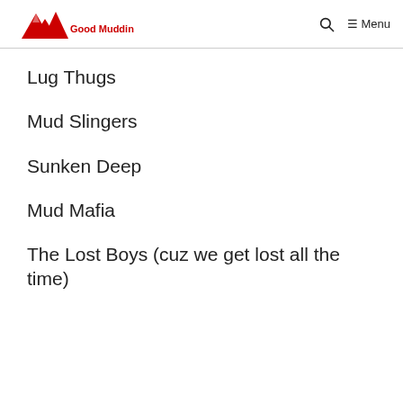Good Muddin  🔍  ☰ Menu
Lug Thugs
Mud Slingers
Sunken Deep
Mud Mafia
The Lost Boys (cuz we get lost all the time)